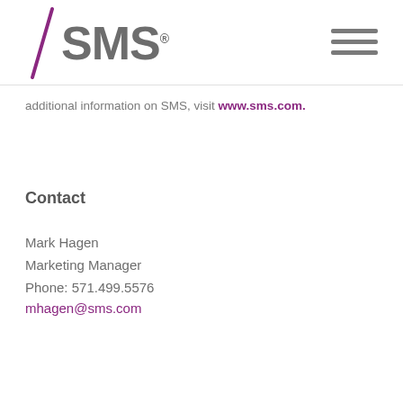[Figure (logo): SMS logo with purple diagonal slash and grey bold SMS text with registered trademark symbol]
additional information on SMS, visit www.sms.com.
Contact
Mark Hagen
Marketing Manager
Phone: 571.499.5576
mhagen@sms.com